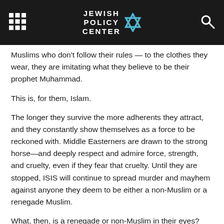JEWISH POLICY CENTER
Muslims who don't follow their rules — to the clothes they wear, they are imitating what they believe to be their prophet Muhammad.
This is, for them, Islam.
The longer they survive the more adherents they attract, and they constantly show themselves as a force to be reckoned with. Middle Easterners are drawn to the strong horse—and deeply respect and admire force, strength, and cruelty, even if they fear that cruelty. Until they are stopped, ISIS will continue to spread murder and mayhem against anyone they deem to be either a non-Muslim or a renegade Muslim.
What, then, is a renegade or non-Muslim in their eyes? Anyone who doesn't see the world as they do. That of course includes Shiites, who, from their point of view, are apostates. But it also means Sunnis who don't agree with them. ISIS labels them apostates as well and